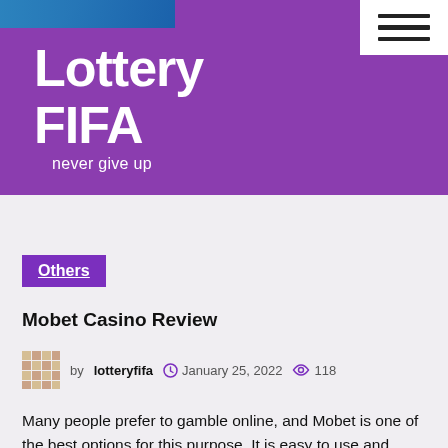Lottery FIFA
never give up
Others
Mobet Casino Review
by lotteryfifa   January 25, 2022   118
Many people prefer to gamble online, and Mobet is one of the best options for this purpose. It is easy to use and comfortable for newbies. You can deposit funds at any